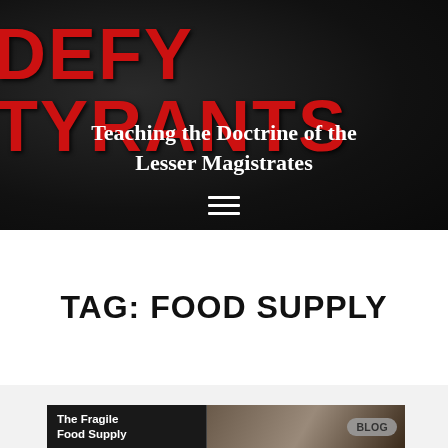DEFY TYRANTS
Teaching the Doctrine of the Lesser Magistrates
TAG: FOOD SUPPLY
[Figure (screenshot): Blog card showing 'The Fragile Food Supply' article with a photo of a person and a BLOG badge]
BLOG